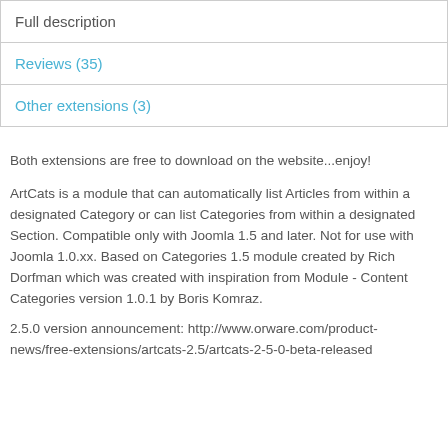Full description
Reviews (35)
Other extensions (3)
Both extensions are free to download on the website...enjoy!
ArtCats is a module that can automatically list Articles from within a designated Category or can list Categories from within a designated Section. Compatible only with Joomla 1.5 and later. Not for use with Joomla 1.0.xx. Based on Categories 1.5 module created by Rich Dorfman which was created with inspiration from Module - Content Categories version 1.0.1 by Boris Komraz.
2.5.0 version announcement: http://www.orware.com/product-news/free-extensions/artcats-2.5/artcats-2-5-0-beta-released